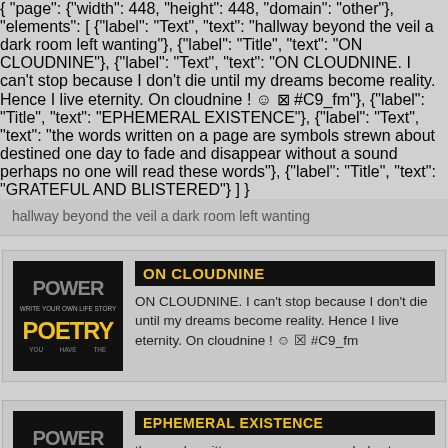hallway beyond the veil a dark room left wanting
ON CLOUDNINE
ON CLOUDNINE. I can't stop because I don't die until my dreams become reality. Hence I live eternity. On cloudnine ! ☺ ⊠ #C9_fm
EPHEMERAL EXISTENCE
the words written on a page are symbols strewn about destined one day to fade and disappear without a sound perhaps no one will read these words
GRATEFUL AND BLISTERED